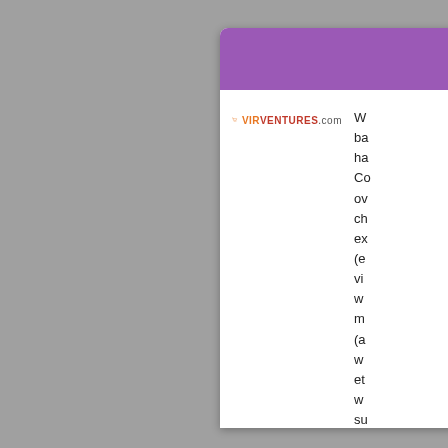Vi
[Figure (logo): VirVentures.com logo with orange shopping cart icon and red/orange text]
W... ba... ha... Co... ov... ch... ex... (e... vi... w... m... (a... w... et... w... su...